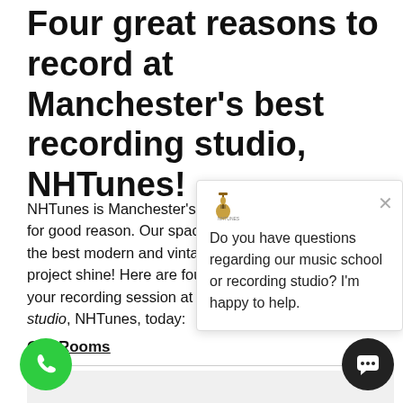Four great reasons to record at Manchester's best recording studio, NHTunes!
NHTunes is Manchester's premier recording studio, and for good reason. Our spacious studio is equipped with the best modern and vintage gear which will make your project shine! Here are four great reasons to schedule your recording session at Manchester's best recording studio, NHTunes, today:
Our Rooms
[Figure (screenshot): Chat popup widget with guitar icon, close button (×), and message: 'Do you have questions regarding our music school or recording studio? I'm happy to help.']
[Figure (illustration): Green circular phone call button at bottom left]
[Figure (illustration): Black circular chat button at bottom right]